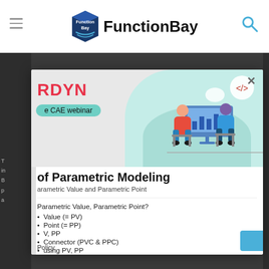FunctionBay
[Figure (screenshot): FunctionBay website screenshot showing a modal popup for a CAE webinar about Parametric Modeling, with RDYN branding, a webinar banner illustration, and a list of topics including Parametric Value (PV), Parametric Point (PP), and Connector (PVC & PPC)]
of Parametric Modeling
arametric Value and Parametric Point
Parametric Value, Parametric Point?
Value (= PV)
Point (= PP)
V, PP
Connector (PVC & PPC)
using PV, PP
Policy.